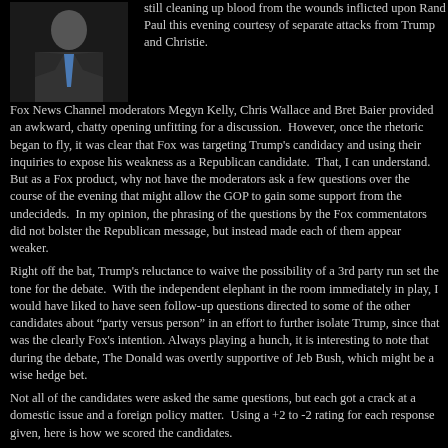[Figure (photo): Headshot of a man in a dark suit and blue tie against a dark background]
still cleaning up blood from the wounds inflicted upon Rand Paul this evening courtesy of separate attacks from Trump and Christie.
Fox News Channel moderators Megyn Kelly, Chris Wallace and Bret Baier provided an awkward, chatty opening unfitting for a discussion. However, once the rhetoric began to fly, it was clear that Fox was targeting Trump's candidacy and using their inquiries to expose his weakness as a Republican candidate. That, I can understand. But as a Fox product, why not have the moderators ask a few questions over the course of the evening that might allow the GOP to gain some support from the undecideds. In my opinion, the phrasing of the questions by the Fox commentators did not bolster the Republican message, but instead made each of them appear weaker.
Right off the bat, Trump's reluctance to waive the possibility of a 3rd party run set the tone for the debate. With the independent elephant in the room immediately in play, I would have liked to have seen follow-up questions directed to some of the other candidates about “party versus person” in an effort to further isolate Trump, since that was the clearly Fox's intention. Always playing a hunch, it is interesting to note that during the debate, The Donald was overtly supportive of Jeb Bush, which might be a wise hedge bet.
Not all of the candidates were asked the same questions, but each got a crack at a domestic issue and a foreign policy matter. Using a +2 to -2 rating for each response given, here is how we scored the candidates.
|  | Q1 | Q2 | Q3 | Q4 | Q5 | Q6 | Q7 | Close | Total |
| --- | --- | --- | --- | --- | --- | --- | --- | --- | --- |
| Bush | 1 | 1 | -1 | 1 | 1 | 1 | 1 | 0 | 5 |